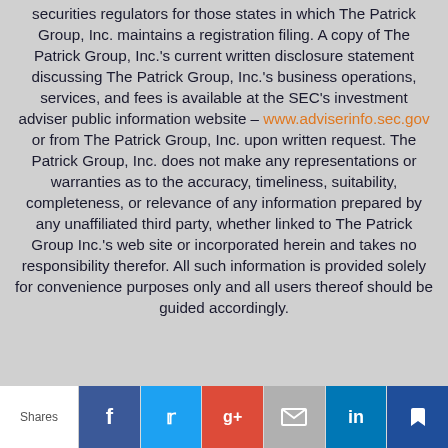securities regulators for those states in which The Patrick Group, Inc. maintains a registration filing. A copy of The Patrick Group, Inc.'s current written disclosure statement discussing The Patrick Group, Inc.'s business operations, services, and fees is available at the SEC's investment adviser public information website – www.adviserinfo.sec.gov or from The Patrick Group, Inc. upon written request. The Patrick Group, Inc. does not make any representations or warranties as to the accuracy, timeliness, suitability, completeness, or relevance of any information prepared by any unaffiliated third party, whether linked to The Patrick Group Inc.'s web site or incorporated herein and takes no responsibility therefor. All such information is provided solely for convenience purposes only and all users thereof should be guided accordingly.
Shares | Facebook | Twitter | Google+ | Email | LinkedIn | Bookmark